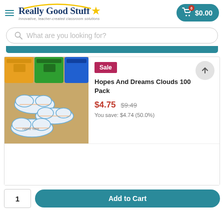Really Good Stuff — Innovative, teacher-created classroom solutions | Cart: $0.00
What are you looking for?
[Figure (screenshot): Product image showing cloud-shaped name tag cutouts on a wooden surface, with colorful storage baskets in background]
Sale
Hopes And Dreams Clouds 100 Pack
$4.75  $9.49
You save: $4.74 (50.0%)
1
Add to Cart